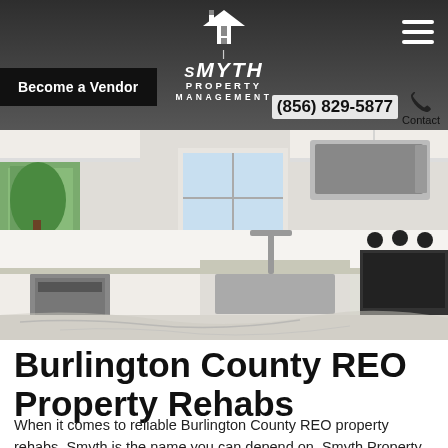Smyth Property Management — (856) 829-5877 — Contact
Become a Vendor
[Figure (photo): Renovated kitchen interior with white cabinets, marble countertops, stainless steel microwave and electric range, dishwasher, and sink with window background]
Burlington County REO Property Rehabs
When it comes to reliable Burlington County REO property rehabs, Smyth is the name you can depend on. Smyth Property Management. Smyth Property